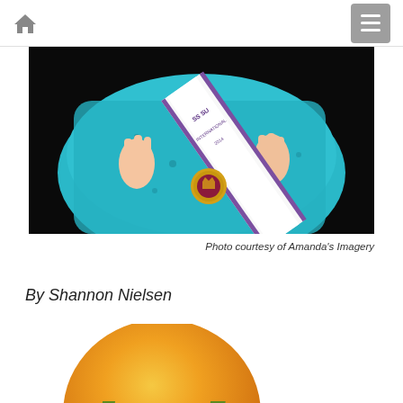Home | Menu navigation
[Figure (photo): Close-up photo of a child wearing a teal/turquoise dress and a white pageant sash reading 'Miss Something International 2014' with a gold medal medallion]
Photo courtesy of Amanda's Imagery
By Shannon Nielsen
[Figure (logo): Circular orange gradient logo with green stylized 'hmd' lettering]